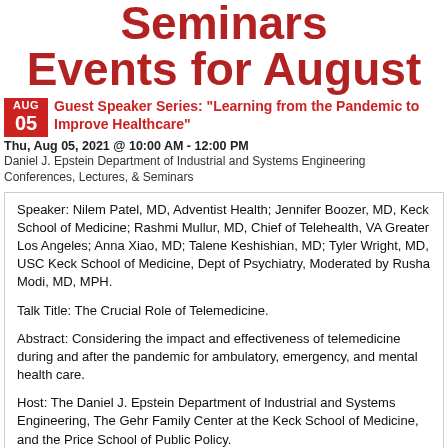Seminars Events for August
Guest Speaker Series: "Learning from the Pandemic to Improve Healthcare"
Thu, Aug 05, 2021 @ 10:00 AM - 12:00 PM
Daniel J. Epstein Department of Industrial and Systems Engineering
Conferences, Lectures, & Seminars
Speaker: Nilem Patel, MD, Adventist Health; Jennifer Boozer, MD, Keck School of Medicine; Rashmi Mullur, MD, Chief of Telehealth, VA Greater Los Angeles; Anna Xiao, MD; Talene Keshishian, MD; Tyler Wright, MD, USC Keck School of Medicine, Dept of Psychiatry, Moderated by Rusha Modi, MD, MPH.

Talk Title: The Crucial Role of Telemedicine.

Abstract: Considering the impact and effectiveness of telemedicine during and after the pandemic for ambulatory, emergency, and mental health care.

Host: The Daniel J. Epstein Department of Industrial and Systems Engineering, The Gehr Family Center at the Keck School of Medicine, and the Price School of Public Policy.